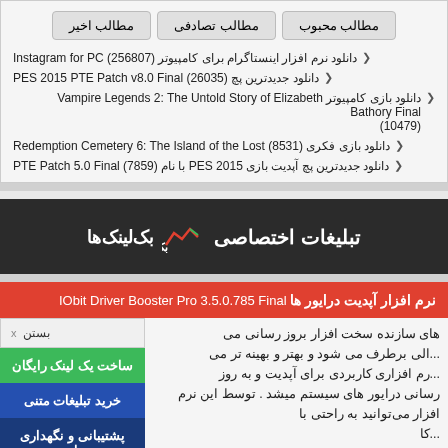مطالب محبوب
مطالب تصادفی
مطالب اخیر
دانلود نرم افزار اینستاگرام برای کامپیوتر (256807) Instagram for PC
دانلود جدیدترین پچ PES 2015 PTE Patch v8.0 Final (26035)
دانلود بازی کامپیوتر Vampire Legends 2: The Untold Story of Elizabeth Bathory Final (10479)
دانلود بازی فکری Redemption Cemetery 6: The Island of the Lost (8531)
دانلود جدیدترین پچ آپدیت بازی PES 2015 با نام PTE Patch 5.0 Final (7859)
[Figure (logo): تبلیغات اختصاصی بک‌لینک‌ها banner on dark background]
نرم افزار آپدیت درایور ها IObit Driver Booster Pro 3.5.0.785 Final
x بستن
ساخت یک لینک رایگان
خرید تبلیغات متنی
پشتیبانی و نگهداری سایت
های سازنده سخت افزار بروز رسانی می ... دانی برطرف می شود و بهتر و بهینه تر می ... رم افزاری کاربردی برای آپدیت و به روز رسانی درایور های سیستم میشد . توسط این نرم افزار می‌توانید به راحتی با ...